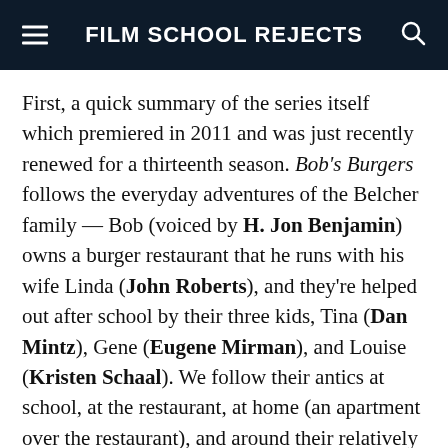FILM SCHOOL REJECTS
First, a quick summary of the series itself which premiered in 2011 and was just recently renewed for a thirteenth season. Bob's Burgers follows the everyday adventures of the Belcher family — Bob (voiced by H. Jon Benjamin) owns a burger restaurant that he runs with his wife Linda (John Roberts), and they're helped out after school by their three kids, Tina (Dan Mintz), Gene (Eugene Mirman), and Louise (Kristen Schaal). We follow their antics at school, at the restaurant, at home (an apartment over the restaurant), and around their relatively small oceanside town/city. The Belchers are a lower/middle working class family, and their financial constraints often play a part in story lines — so it's no surprise to